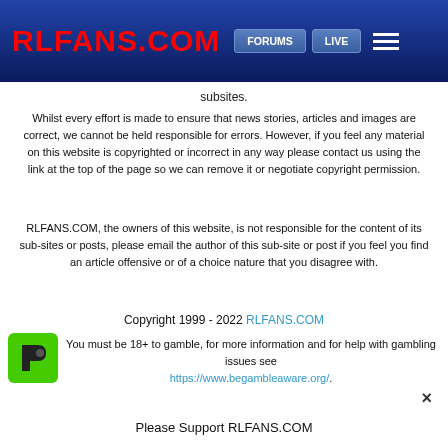RLFANS.COM  FORUMS  LIVE
subsites.
Whilst every effort is made to ensure that news stories, articles and images are correct, we cannot be held responsible for errors. However, if you feel any material on this website is copyrighted or incorrect in any way please contact us using the link at the top of the page so we can remove it or negotiate copyright permission.
RLFANS.COM, the owners of this website, is not responsible for the content of its sub-sites or posts, please email the author of this sub-site or post if you feel you find an article offensive or of a choice nature that you disagree with.
Copyright 1999 - 2022 RLFANS.COM
[Figure (logo): Green icon with D shape and arrow]
You must be 18+ to gamble, for more information and for help with gambling issues see https://www.begambleaware.org/.
Please Support RLFANS.COM